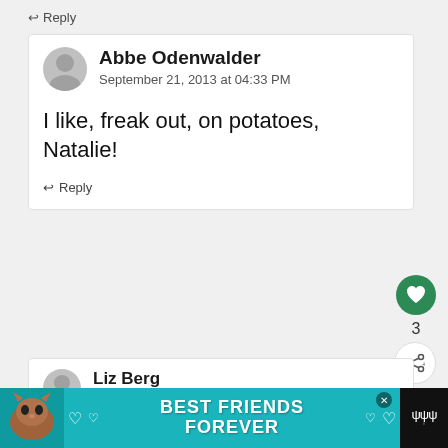↩ Reply
Abbe Odenwalder
September 21, 2013 at 04:33 PM
I like, freak out, on potatoes, Natalie!
↩ Reply
Liz Berg
September 19, 2013 at 10:30 AM
What a wonderful family recipe. I know
[Figure (screenshot): Ad banner: BEST FRIENDS FOREVER with cat image on teal background]
WHAT'S NEXT → Onion and Garlic Potat...